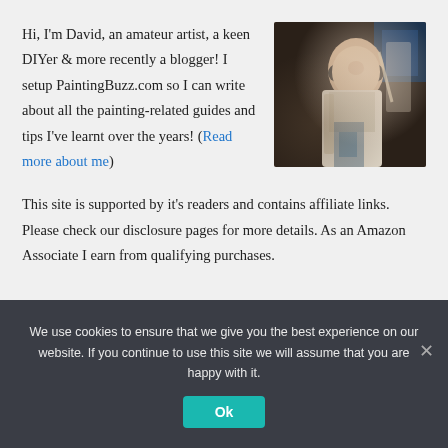Hi, I'm David, an amateur artist, a keen DIYer & more recently a blogger! I setup PaintingBuzz.com so I can write about all the painting-related guides and tips I've learnt over the years! (Read more about me)
[Figure (photo): A young man wearing headphones painting on a canvas in a dimly lit room]
This site is supported by it's readers and contains affiliate links. Please check our disclosure pages for more details. As an Amazon Associate I earn from qualifying purchases.
We use cookies to ensure that we give you the best experience on our website. If you continue to use this site we will assume that you are happy with it. Ok